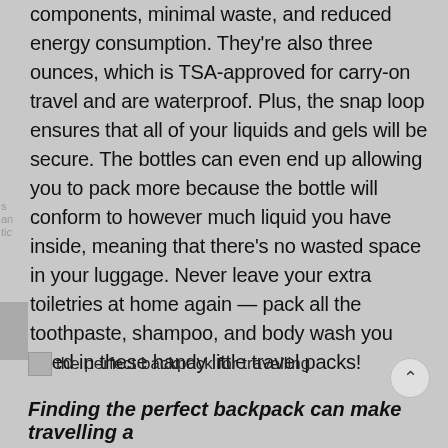components, minimal waste, and reduced energy consumption. They're also three ounces, which is TSA-approved for carry-on travel and are waterproof. Plus, the snap loop ensures that all of your liquids and gels will be secure. The bottles can even end up allowing you to pack more because the bottle will conform to however much liquid you have inside, meaning that there's no wasted space in your luggage. Never leave your extra toiletries at home again — pack all the toothpaste, shampoo, and body wash you need in these handy little travel packs!
the perfect backpack for travelling
Finding the perfect backpack can make travelling a